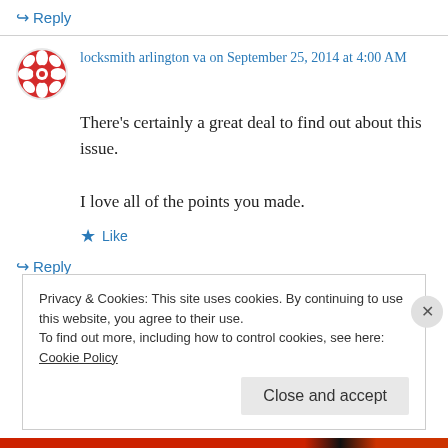↪ Reply
locksmith arlington va on September 25, 2014 at 4:00 AM
There's certainly a great deal to find out about this issue.
I love all of the points you made.
★ Like
↪ Reply
Privacy & Cookies: This site uses cookies. By continuing to use this website, you agree to their use.
To find out more, including how to control cookies, see here: Cookie Policy
Close and accept